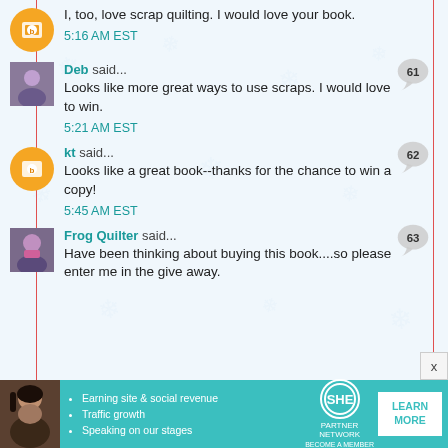I, too, love scrap quilting. I would love your book.
5:16 AM EST
Deb said...
Looks like more great ways to use scraps. I would love to win.
5:21 AM EST
kt said...
Looks like a great book--thanks for the chance to win a copy!
5:45 AM EST
Frog Quilter said...
Have been thinking about buying this book....so please enter me in the give away.
[Figure (infographic): SHE Partner Network advertisement banner at the bottom of the page showing a woman, bullet points about earning and traffic, SHE logo, and Learn More button]